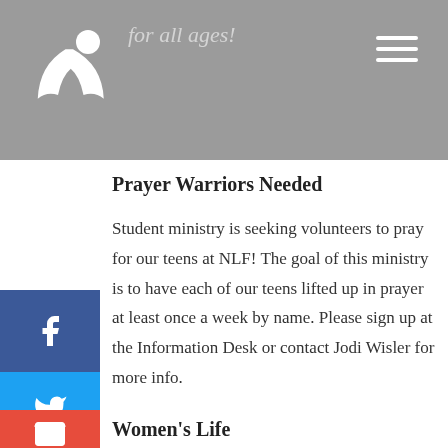for all ages!
Prayer Warriors Needed
Student ministry is seeking volunteers to pray for our teens at NLF! The goal of this ministry is to have each of our teens lifted up in prayer at least once a week by name. Please sign up at the Information Desk or contact Jodi Wisler for more info.
Women’s Life